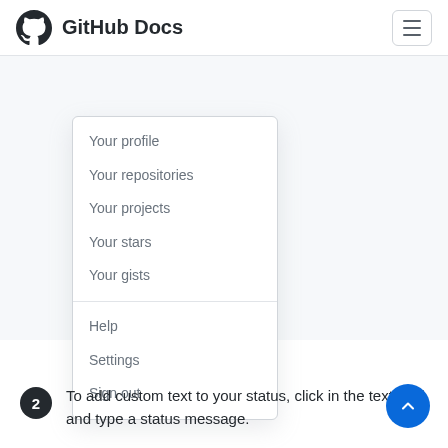GitHub Docs
[Figure (screenshot): GitHub user dropdown menu showing: Your profile, Your repositories, Your projects, Your stars, Your gists (top section), then Help, Settings, Sign out (bottom section)]
2  To add custom text to your status, click in the text field and type a status message.